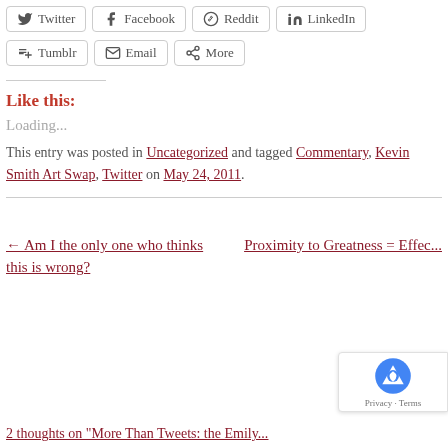Twitter
Facebook
Reddit
LinkedIn
Tumblr
Email
More
Like this:
Loading...
This entry was posted in Uncategorized and tagged Commentary, Kevin Smith Art Swap, Twitter on May 24, 2011.
← Am I the only one who thinks this is wrong?
Proximity to Greatness = Effec...
2 thoughts on "More Than Tweets: the Emily..."